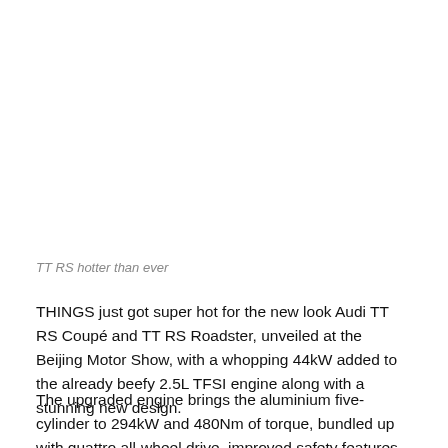TT RS hotter than ever
THINGS just got super hot for the new look Audi TT RS Coupé and TT RS Roadster, unveiled at the Beijing Motor Show, with a whopping 44kW added to the already beefy 2.5L TFSI engine along with a stunning new design.
The upgraded engine brings the aluminium five-cylinder to 294kW and 480Nm of torque, bundled up with quattro all-wheel drive, improved safety features, and a major boost to